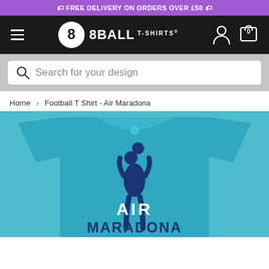🏷 FREE DELIVERY ON ORDERS OVER £50 🏷
[Figure (logo): 8Ball T-Shirts logo with hamburger menu, 8-ball icon, account and cart icons on black navbar]
Search for your design
Home > Football T Shirt - Air Maradona
[Figure (photo): Teal/turquoise t-shirt with 'AIR MARADONA' design showing a footballer silhouette with a ball above his head]